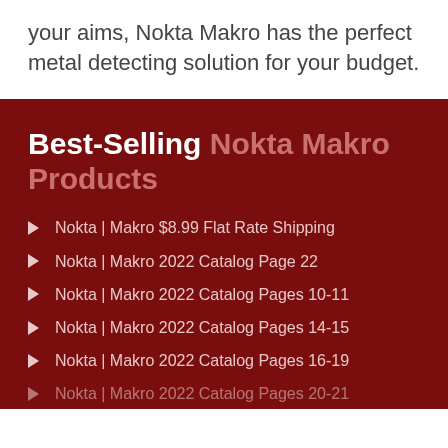your aims, Nokta Makro has the perfect metal detecting solution for your budget.
Best-Selling Nokta Makro Products
Nokta | Makro $8.99 Flat Rate Shipping
Nokta | Makro 2022 Catalog Page 22
Nokta | Makro 2022 Catalog Pages 10-11
Nokta | Makro 2022 Catalog Pages 14-15
Nokta | Makro 2022 Catalog Pages 16-19
Nokta | Makro 2022 Catalog Pages 20-21